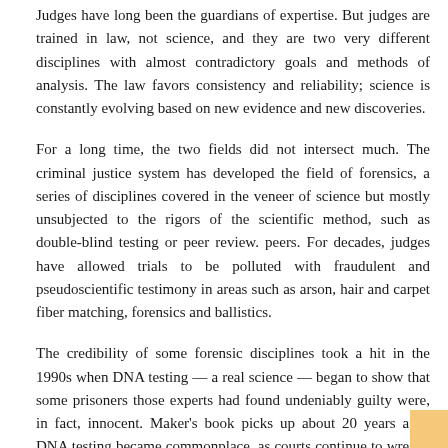Judges have long been the guardians of expertise. But judges are trained in law, not science, and they are two very different disciplines with almost contradictory goals and methods of analysis. The law favors consistency and reliability; science is constantly evolving based on new evidence and new discoveries.
For a long time, the two fields did not intersect much. The criminal justice system has developed the field of forensics, a series of disciplines covered in the veneer of science but mostly unsubjected to the rigors of the scientific method, such as double-blind testing or peer review. peers. For decades, judges have allowed trials to be polluted with fraudulent and pseudoscientific testimony in areas such as arson, hair and carpet fiber matching, forensics and ballistics.
The credibility of some forensic disciplines took a hit in the 1990s when DNA testing — a real science — began to show that some prisoners those experts had found undeniably guilty were, in fact, innocent. Maker's book picks up about 20 years after DNA testing became commonplace, as courts continue to wrestle with this fundamental square-peg/round-hole problem: how to reconcile science and law.